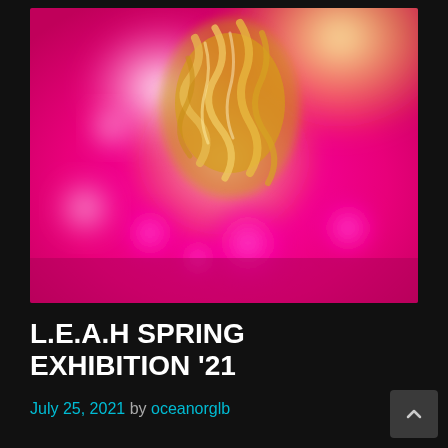[Figure (illustration): Abstract digital artwork with vibrant pink/magenta background with glowing bokeh circles and a golden/yellow organic sculptural form in center-top area with yellow-green glow]
L.E.A.H SPRING EXHIBITION '21
July 25, 2021 by oceanorglb